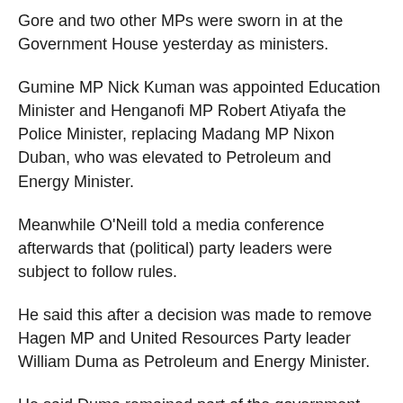Gore and two other MPs were sworn in at the Government House yesterday as ministers.
Gumine MP Nick Kuman was appointed Education Minister and Henganofi MP Robert Atiyafa the Police Minister, replacing Madang MP Nixon Duban, who was elevated to Petroleum and Energy Minister.
Meanwhile O'Neill told a media conference afterwards that (political) party leaders were subject to follow rules.
He said this after a decision was made to remove Hagen MP and United Resources Party leader William Duma as Petroleum and Energy Minister.
He said Duma remained part of the government and it was up to him whether to move on.
O'Neill said the decision for a reshuffle was made through a wide consultation and he expressed confidence for the three new ministers.